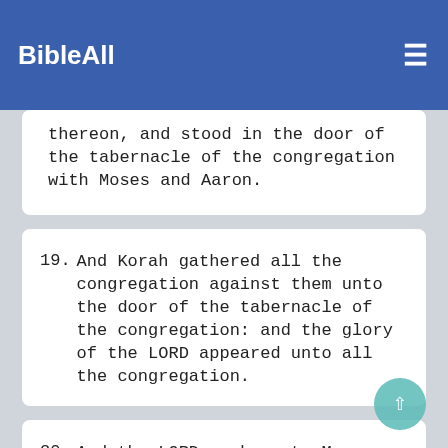BibleAll
18. And they took every man his censer, and put fire in them, and laid incense thereon, and stood in the door of the tabernacle of the congregation with Moses and Aaron.
19. And Korah gathered all the congregation against them unto the door of the tabernacle of the congregation: and the glory of the LORD appeared unto all the congregation.
20. And the LORD spake unto Moses and unto Aaron, saying,